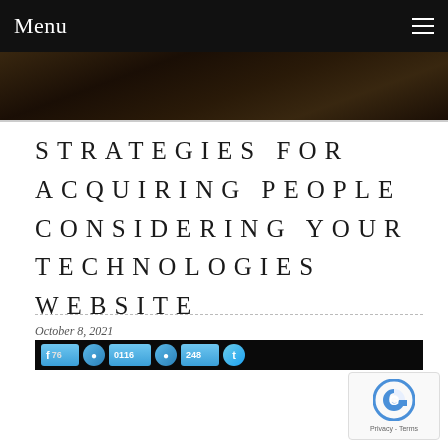Menu
[Figure (photo): Dark nature/foliage background image used as hero banner strip]
STRATEGIES FOR ACQUIRING PEOPLE CONSIDERING YOUR TECHNOLOGIES WEBSITE
October 8, 2021
[Figure (screenshot): Social sharing buttons bar showing Facebook, like, and Twitter counts (76, 0116, 248)]
[Figure (other): reCAPTCHA badge with Google logo, Privacy and Terms links]